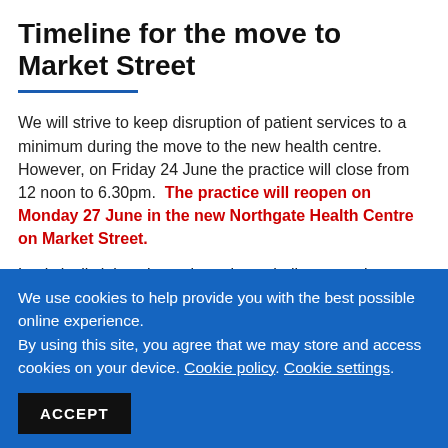Timeline for the move to Market Street
We will strive to keep disruption of patient services to a minimum during the move to the new health centre. However, on Friday 24 June the practice will close from 12 noon to 6.30pm. The practice will reopen on Monday 27 June in the new Northgate Health Centre on Market Street.
Logistically it is going to be quite a challenge to close on
We use cookies to help provide you with the best possible online experience. By using this site, you agree that we may store and access cookies on your device. Cookie policy. Cookie settings.